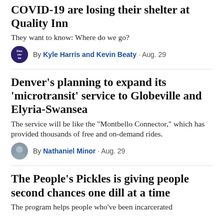COVID-19 are losing their shelter at Quality Inn
They want to know: Where do we go?
By Kyle Harris and Kevin Beaty · Aug. 29
Denver's planning to expand its 'microtransit' service to Globeville and Elyria-Swansea
The service will be like the "Montbello Connector," which has provided thousands of free and on-demand rides.
By Nathaniel Minor · Aug. 29
The People's Pickles is giving people second chances one dill at a time
The program helps people who've been incarcerated